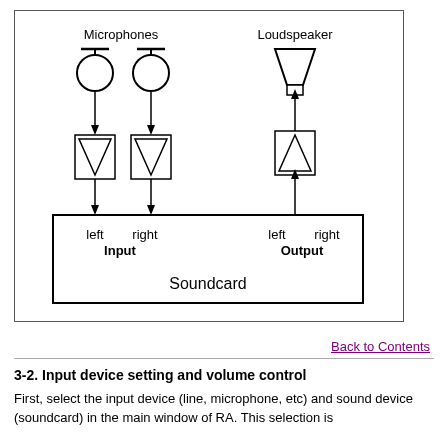[Figure (schematic): Diagram showing two microphones connected via amplifier/filter boxes to left and right Input channels of a Soundcard, and a Loudspeaker connected via an amplifier box to left and right Output channels of the Soundcard.]
Back to Contents
3-2. Input device setting and volume control
First, select the input device (line, microphone, etc) and sound device (soundcard) in the main window of RA. This selection is